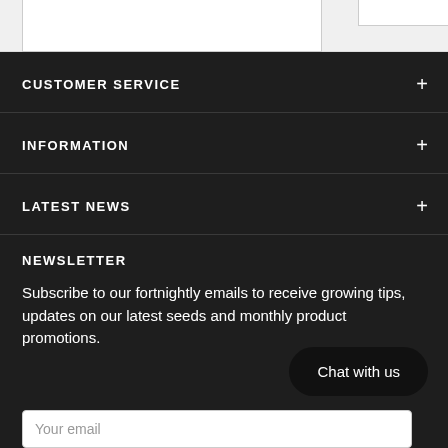CUSTOMER SERVICE
INFORMATION
LATEST NEWS
NEWSLETTER
Subscribe to our fortnightly emails to receive growing tips, updates on our latest seeds and monthly product promotions.
Chat with us
Your email